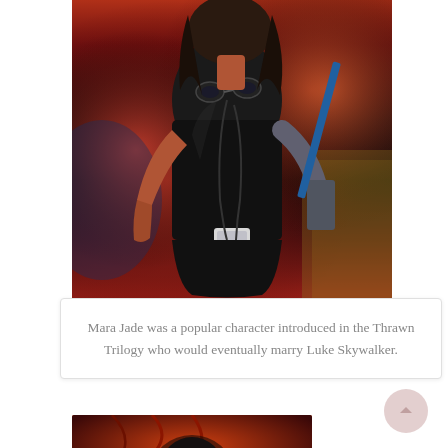[Figure (photo): A cosplayer dressed as Mara Jade in a black leather outfit with goggles on her chest and grey gloves, holding a weapon, against a red/orange dramatic background]
Mara Jade was a popular character introduced in the Thrawn Trilogy who would eventually marry Luke Skywalker.
[Figure (photo): Bottom partial photo showing what appears to be a red/orange sci-fi or fantasy themed image, partially visible at the bottom of the page]